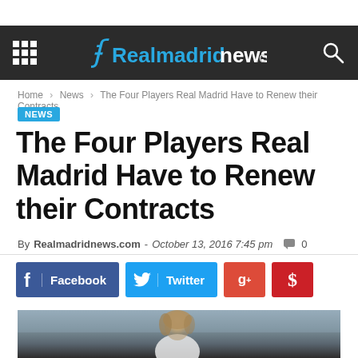Realmadridnews.com
Home › News › The Four Players Real Madrid Have to Renew their Contracts
NEWS
The Four Players Real Madrid Have to Renew their Contracts
By Realmadridnews.com - October 13, 2016 7:45 pm  0
[Figure (screenshot): Social sharing buttons: Facebook, Twitter, Google+, Pinterest]
[Figure (photo): A Real Madrid football player with shoulder-length hair wearing a white jersey, photographed during a match in a stadium with crowd in the background]